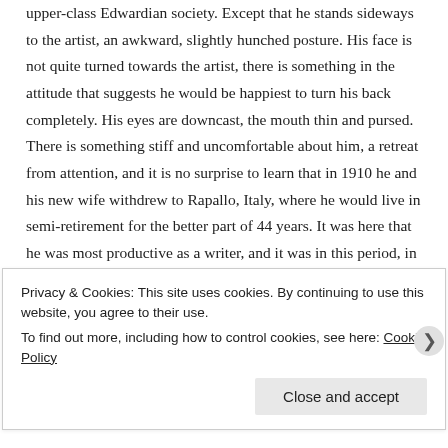upper-class Edwardian society. Except that he stands sideways to the artist, an awkward, slightly hunched posture. His face is not quite turned towards the artist, there is something in the attitude that suggests he would be happiest to turn his back completely. His eyes are downcast, the mouth thin and pursed. There is something stiff and uncomfortable about him, a retreat from attention, and it is no surprise to learn that in 1910 he and his new wife withdrew to Rapallo, Italy, where he would live in semi-retirement for the better part of 44 years. It was here that he was most productive as a writer, and it was in this period, in 1916, that he wrote “Enoch Soames”. Beerbohm himself appears in the
Privacy & Cookies: This site uses cookies. By continuing to use this website, you agree to their use.
To find out more, including how to control cookies, see here: Cookie Policy
Close and accept